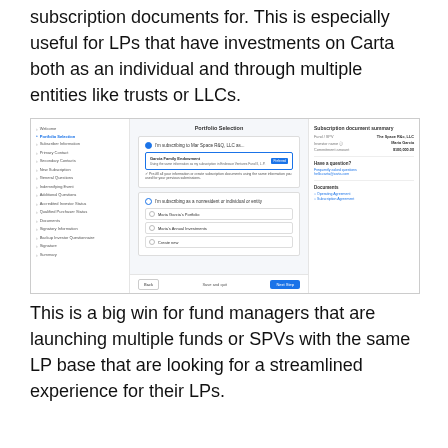subscription documents for. This is especially useful for LPs that have investments on Carta both as an individual and through multiple entities like trusts or LLCs.
[Figure (screenshot): Screenshot of Carta portfolio selection interface showing subscription document summary with fund/investor details and entity selection options including family endowment and individual investor profiles.]
This is a big win for fund managers that are launching multiple funds or SPVs with the same LP base that are looking for a streamlined experience for their LPs.